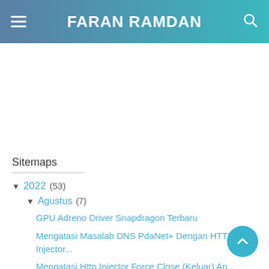FARAN RAMDAN
Sitemaps
▼ 2022 (53)
▼ Agustus (7)
GPU Adreno Driver Snapdragon Terbaru
Mengatasi Masalah DNS PdaNet+ Dengan HTTP Injector...
Mengatasi Http Injector Force Close (Keluar) An...